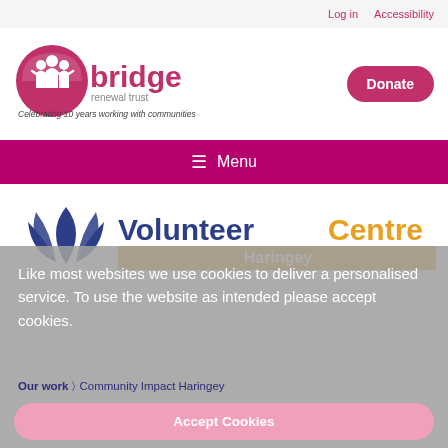Log in   Accessibility
[Figure (logo): Bridge Renewal Trust logo with circular icon showing figures and text 'bridge renewal trust'. Tagline: Celebrating 10 years working with communities]
Donate
≡ Menu
[Figure (logo): Volunteer Centre Haringey logo with blue leaf/wing icon and text 'Volunteer Centre' in blue and 'Haringey' in orange/yellow on a gold bar]
Like most websites we use cookies to deliver a personalised service. To use the website as intended please accept cookies.
Our work › Community Impact Haringey
Accept Cookies